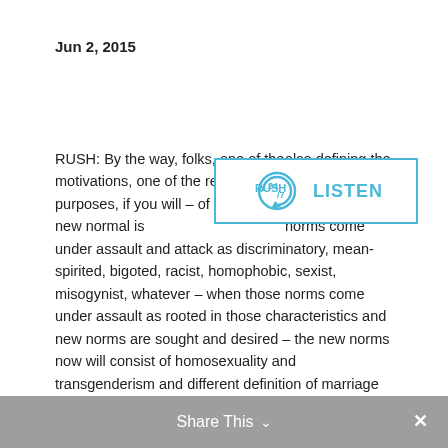Jun 2, 2015
RUSH: By the way, folks, one of the motivations, one of the reasons – purposes, if you will – of defining a new normal is also defining the new weirdos. When society's norms come under assault and attack as discriminatory, mean-spirited, bigoted, racist, homophobic, sexist, misogynist, whatever – when those norms come under assault as rooted in those characteristics and new norms are sought and desired – the new norms now will consist of homosexuality and transgenderism and different definition of marriage and what have you.
[Figure (logo): RUSH 24/7 logo with circular arrow icon and LISTEN text in blue, inside a rectangular border]
Share This ∨  ×